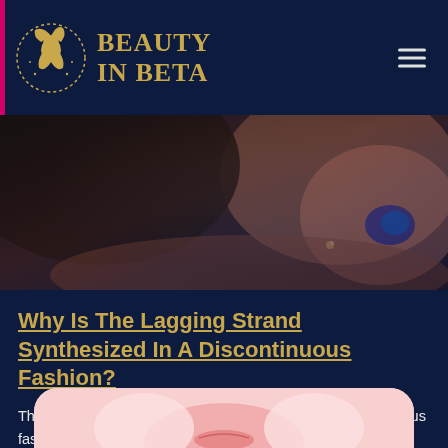BEAUTY IN BETA
[Figure (photo): Close-up photo of a person with dark blue nail polish and jewelry, against a dark background]
Why Is The Lagging Strand Synthesized In A Discontinuous Fashion?
The lagging strand, however, cannot be created in a continuous fashion because its template strand has 5’ to 3’ directionality, which means the polyme …
[Figure (photo): Close-up photo of a person's face/lips with pink bokeh background, partially visible at bottom of page]